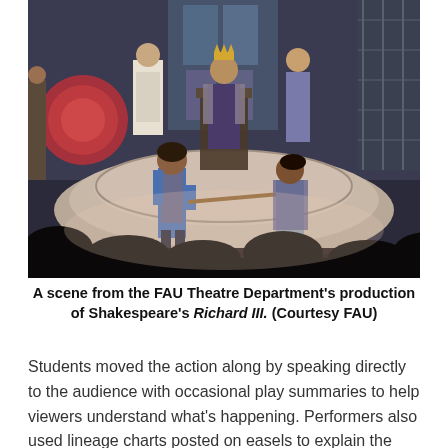[Figure (photo): A scene from the FAU Theatre Department's production of Shakespeare's Richard III. Two young performers in medieval costume face each other in a stage fight with a wooden staff on a circular raised stage. Behind them, a seated figure wearing a crown and a robe sits on a throne, flanked by two other costumed performers. The audience silhouettes are visible in the foreground.]
A scene from the FAU Theatre Department's production of Shakespeare's Richard III. (Courtesy FAU)
Students moved the action along by speaking directly to the audience with occasional play summaries to help viewers understand what's happening. Performers also used lineage charts posted on easels to explain the